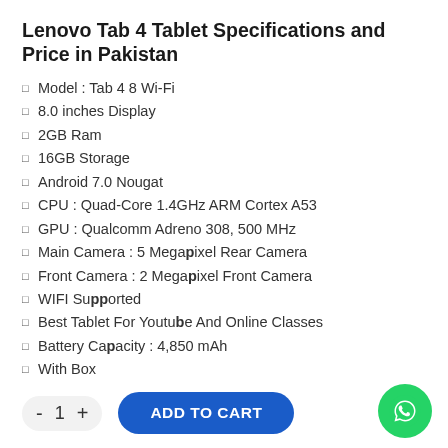Lenovo Tab 4 Tablet Specifications and Price in Pakistan
Model : Tab 4 8 Wi-Fi
8.0 inches Display
2GB Ram
16GB Storage
Android 7.0 Nougat
CPU : Quad-Core 1.4GHz ARM Cortex A53
GPU : Qualcomm Adreno 308, 500 MHz
Main Camera : 5 Megapixel Rear Camera
Front Camera : 2 Megapixel Front Camera
WIFI Supported
Best Tablet For Youtube And Online Classes
Battery Capacity : 4,850 mAh
With Box